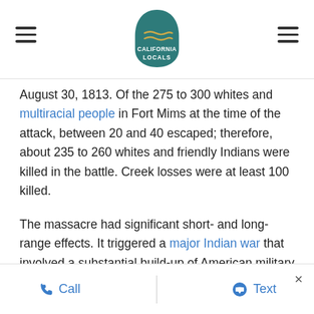California Locals logo with hamburger menus
August 30, 1813. Of the 275 to 300 whites and multiracial people in Fort Mims at the time of the attack, between 20 and 40 escaped; therefore, about 235 to 260 whites and friendly Indians were killed in the battle. Creek losses were at least 100 killed.
The massacre had significant short- and long-range effects. It triggered a major Indian war that involved a substantial build-up of American military force in the area – which probably prevented the British from occupying an undefended Gulf coast in 1814. More importantly, relations between Americans and the southern Indians changed drastically. The Creeks, who
Call   Text   ×